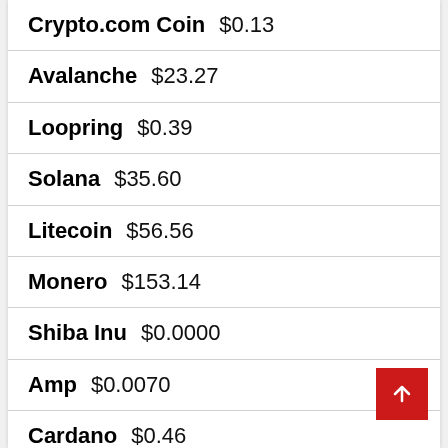Crypto.com Coin $0.13
Avalanche $23.27
Loopring $0.39
Solana $35.60
Litecoin $56.56
Monero $153.14
Shiba Inu $0.0000
Amp $0.0070
Cardano $0.46
Decentraland $0.84